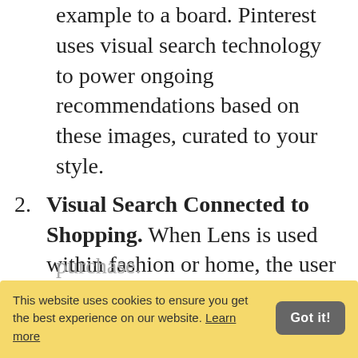example to a board. Pinterest uses visual search technology to power ongoing recommendations based on these images, curated to your style.
2. Visual Search Connected to Shopping. When Lens is used within fashion or home, the user will be shown shoppable Product Pins along with visually similar ideas to try or buy. This update helps connect the dots between inspiration and purchase.
This website uses cookies to ensure you get the best experience on our website. Learn more